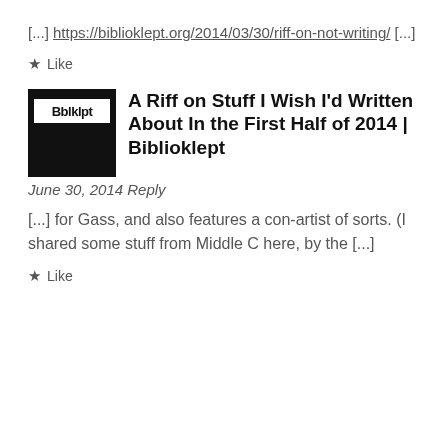[...] https://biblioklept.org/2014/03/30/riff-on-not-writing/ [...]
★ Like
[Figure (logo): Bblklpt logo thumbnail - white text on black background]
A Riff on Stuff I Wish I'd Written About In the First Half of 2014 | Biblioklept
June 30, 2014 Reply
[...] for Gass, and also features a con-artist of sorts. (I shared some stuff from Middle C here, by the [...]
★ Like